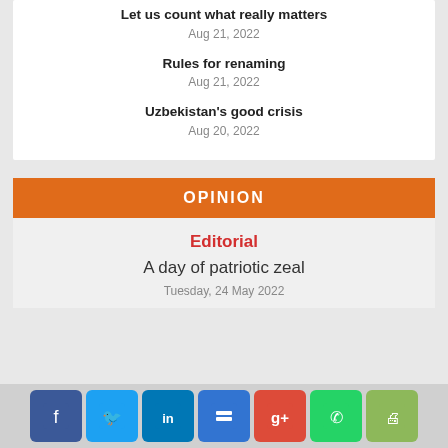Let us count what really matters
Aug 21, 2022
Rules for renaming
Aug 21, 2022
Uzbekistan's good crisis
Aug 20, 2022
OPINION
Editorial
A day of patriotic zeal
Tuesday, 24 May 2022